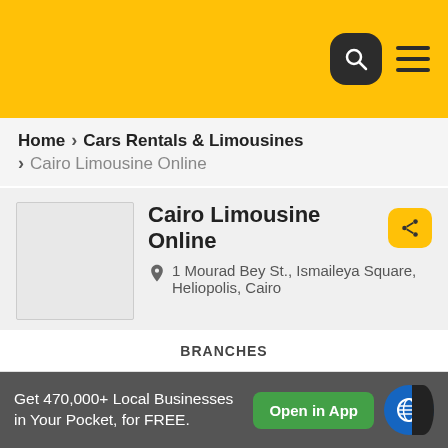[Figure (screenshot): Yellow top navigation bar with search icon (magnifying glass in dark rounded square) and hamburger menu icon]
Home › Cars Rentals & Limousines › Cairo Limousine Online
Cairo Limousine Online
1 Mourad Bey St., Ismaileya Square, Heliopolis, Cairo
BRANCHES
EMAIL US
About
Get 470,000+ Local Businesses in Your Pocket, for FREE.
Open in App